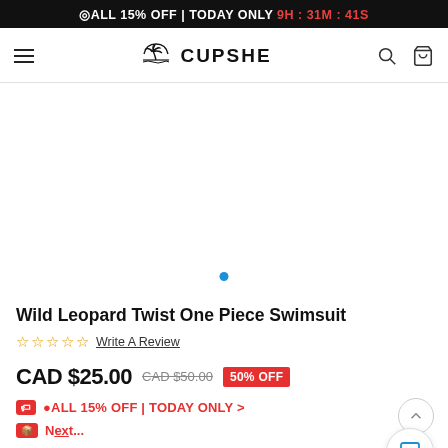ALL 15% OFF | TODAY ONLY 9H : 31M : 41S
[Figure (logo): Cupshe palm tree logo with text CUPSHE, hamburger menu, search icon, and bag icon navigation bar]
[Figure (photo): Product image area (white/empty) with a single blue carousel dot indicator]
Wild Leopard Twist One Piece Swimsuit
☆☆☆☆☆ Write A Review
CAD $25.00 CAD $50.00 50% OFF
ALL 15% OFF | TODAY ONLY >
Next...